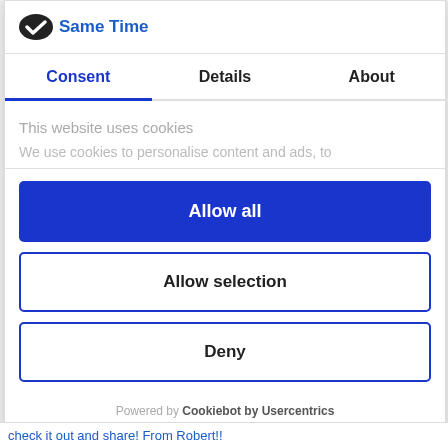Same Time
[Figure (logo): Cookiebot logo icon - dark oval with white check mark]
Consent | Details | About
This website uses cookies
We use cookies to personalise content and ads, to
Allow all
Allow selection
Deny
Powered by Cookiebot by Usercentrics
check it out and share! From Robert!!